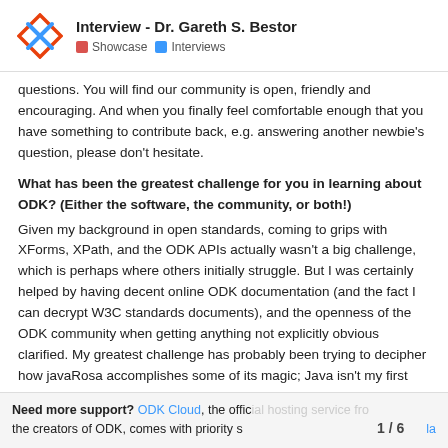Interview - Dr. Gareth S. Bestor | Showcase | Interviews
questions. You will find our community is open, friendly and encouraging. And when you finally feel comfortable enough that you have something to contribute back, e.g. answering another newbie's question, please don't hesitate.
What has been the greatest challenge for you in learning about ODK? (Either the software, the community, or both!) Given my background in open standards, coming to grips with XForms, XPath, and the ODK APIs actually wasn't a big challenge, which is perhaps where others initially struggle. But I was certainly helped by having decent online ODK documentation (and the fact I can decrypt W3C standards documents), and the openness of the ODK community when getting anything not explicitly obvious clarified. My greatest challenge has probably been trying to decipher how javaRosa accomplishes some of its magic; Java isn't my first language, and javaRosa is now quite an old codebase. But I like learning
Need more support? ODK Cloud, the official hosting service from the creators of ODK, comes with priority s 1 / 6 la